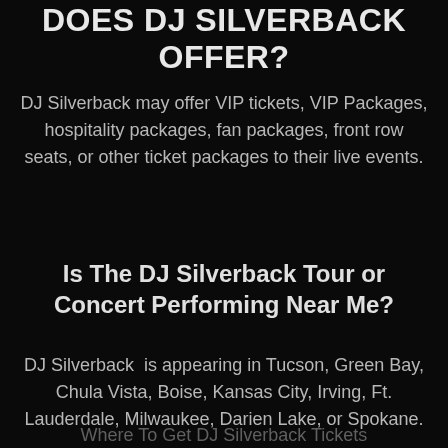DOES DJ SILVERBACK OFFER?
DJ Silverback may offer VIP tickets, VIP Packages, hospitality packages, fan packages, front row seats, or other ticket packages to their live events.
Is The DJ Silverback Tour or Concert Performing Near Me?
DJ Silverback  is appearing in Tucson, Green Bay, Chula Vista, Boise, Kansas City, Irving, Ft. Lauderdale, Milwaukee, Darien Lake, or Spokane.
Where To Get DJ Silverback Tickets